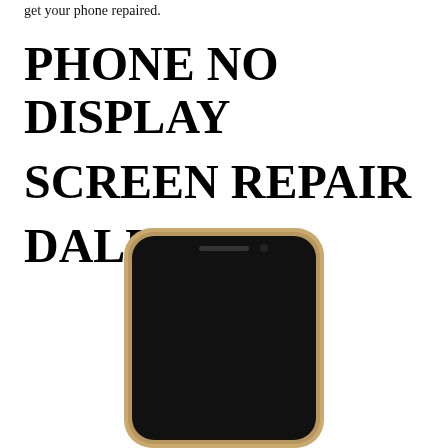get your phone repaired.
PHONE NO DISPLAY SCREEN REPAIR DALLAS
[Figure (photo): A smartphone with a black/no-display screen, viewed from the front, with a gold/silver metal frame, showing the speaker grille at the top. The screen is completely black.]